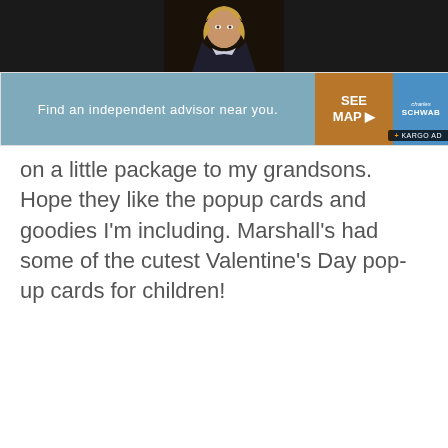[Figure (photo): Person with blonde hair wearing a dark blazer photographed against a dark background, visible from roughly shoulders up, shown at the top of the page]
[Figure (infographic): Advertisement banner with light blue section reading 'Find an independent advisor near you.', an orange 'SEE MAP' button with arrow, and a blue Charles Schwab logo button. A KARGO AD tag overlays the bottom-right corner.]
on a little package to my grandsons. Hope they like the popup cards and goodies I'm including. Marshall's had some of the cutest Valentine's Day pop-up cards for children!